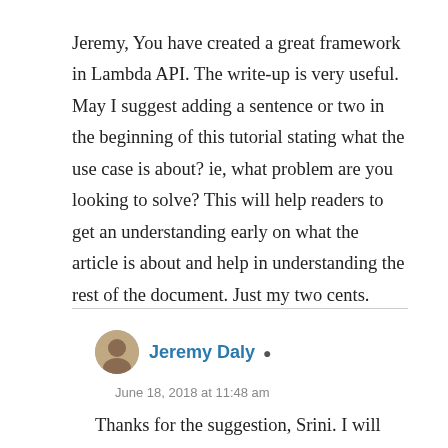Jeremy, You have created a great framework in Lambda API. The write-up is very useful. May I suggest adding a sentence or two in the beginning of this tutorial stating what the use case is about? ie, what problem are you looking to solve? This will help readers to get an understanding early on what the article is about and help in understanding the rest of the document. Just my two cents.
Reply
Jeremy Daly
June 18, 2018 at 11:48 am
Thanks for the suggestion, Srini. I will definitely add some more context.